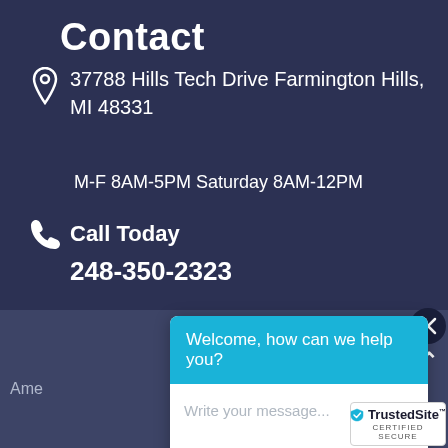Contact
37788 Hills Tech Drive Farmington Hills, MI 48331
M-F 8AM-5PM Saturday 8AM-12PM
Call Today
248-350-2323
Ame
Welcome, how can we help you?
Write your message...
[Figure (screenshot): TrustedSite Certified Secure badge]